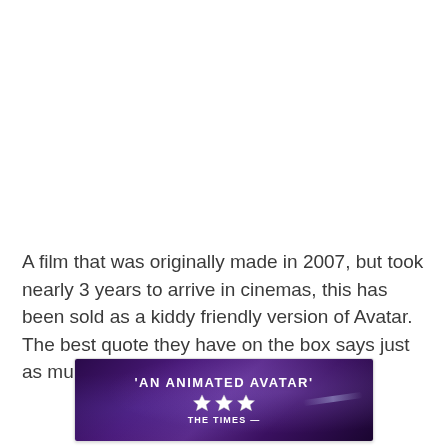A film that was originally made in 2007, but took nearly 3 years to arrive in cinemas, this has been sold as a kiddy friendly version of Avatar. The best quote they have on the box says just as much.
[Figure (photo): Movie banner/DVD box art excerpt showing the quote 'AN ANIMATED AVATAR' with 3 stars and attribution to THE TIMES, on a purple/dark fantasy background]